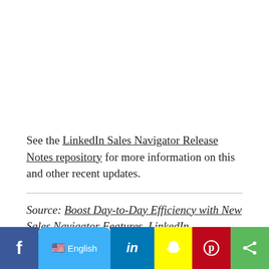See the LinkedIn Sales Navigator Release Notes repository for more information on this and other recent updates.
Source: Boost Day-to-Day Efficiency with New Sales Navigator Features, LinkedIn
[Figure (infographic): Social media sharing bar with Facebook, English language selector, LinkedIn, Snapchat, Pinterest, and share buttons]